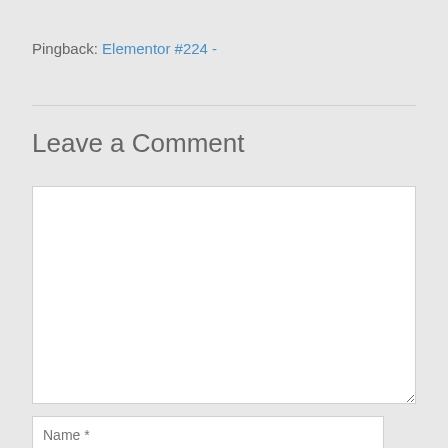Pingback: Elementor #224 -
Leave a Comment
[Figure (other): Empty comment text area input box]
[Figure (other): Name input field with placeholder text 'Name *']